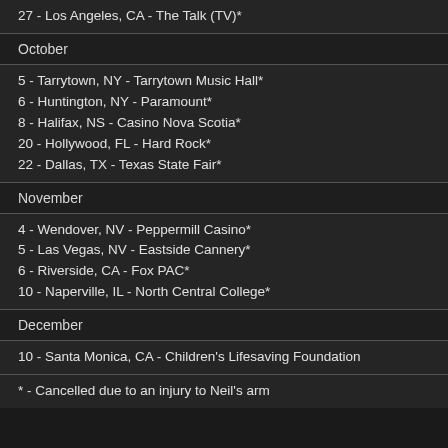27 - Los Angeles, CA - The Talk (TV)*
October
5 - Tarrytown, NY - Tarrytown Music Hall*
6 - Huntington, NY - Paramount*
8 - Halifax, NS - Casino Nova Scotia*
20 - Hollywood, FL - Hard Rock*
22 - Dallas, TX - Texas State Fair*
November
4 - Wendover, NV - Peppermill Casino*
5 - Las Vegas, NV - Eastside Cannery*
6 - Riverside, CA - Fox PAC*
10 - Naperville, IL - North Central College*
December
10 - Santa Monica, CA - Children's Lifesaving Foundation
* - Cancelled due to an injury to Neil's arm